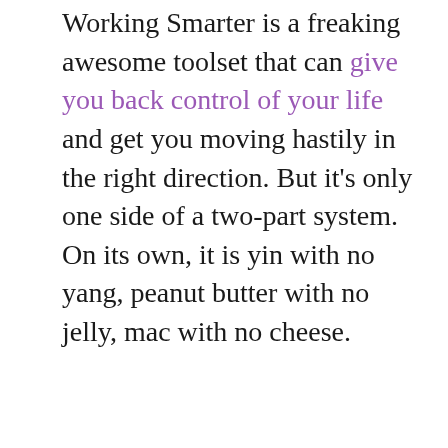Working Smarter is a freaking awesome toolset that can give you back control of your life and get you moving hastily in the right direction. But it's only one side of a two-part system. On its own, it is yin with no yang, peanut butter with no jelly, mac with no cheese.